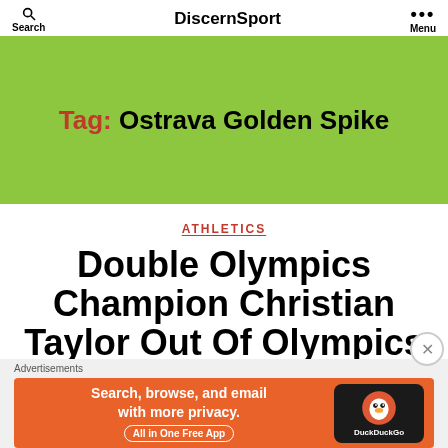DiscernSport — Search | Menu
Tag: Ostrava Golden Spike
ATHLETICS
Double Olympics Champion Christian Taylor Out Of Olympics With Injury As Competi...
[Figure (screenshot): DuckDuckGo advertisement banner: orange background with text 'Search, browse, and email with more privacy. All in One Free App' and DuckDuckGo logo on dark background.]